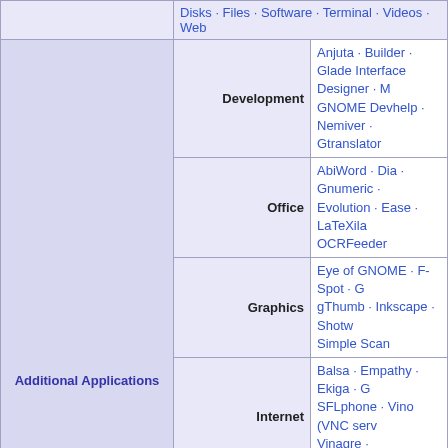|  | Category | Applications |
| --- | --- | --- |
|  |  | Disks · Files · Software · Terminal · Videos · Web |
| Additional Applications | Development | Anjuta · Builder · Glade Interface Designer · GNOME Devhelp · Nemiver · Gtranslator |
| Additional Applications | Office | AbiWord · Dia · Gnumeric · Evolution · Ease · LaTeXila · OCRFeeder |
| Additional Applications | Graphics | Eye of GNOME · F-Spot · gThumb · Inkscape · Shotwell · Simple Scan |
| Additional Applications | Internet | Balsa · Empathy · Ekiga · SFLphone · Vino (VNC server) · Vinagre · transmission-gtk |
| Additional Applications | Media | Banshee · Cheese · Pitivi · Sound Juicer · EasyTag |
| Additional Applications | Games | GNOME Games ( Chess · Mahjongg · gbrainy · PyChess |
| Additional Applications | Utilities | Archive Manager · Brasero · dconf-editor · gedit · gnote · Tomboy |
|  |  | GDM · Mutter · GNOME Shell |